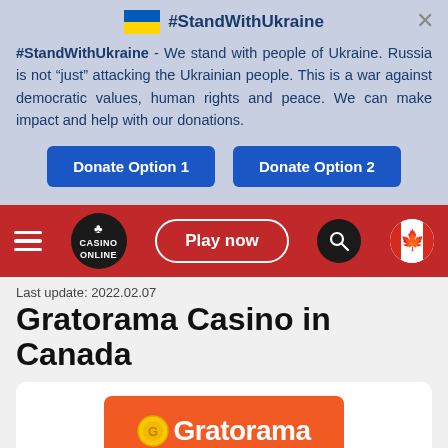[Figure (screenshot): Banner with Ukrainian flag and #StandWithUkraine hashtag at top]
#StandWithUkraine - We stand with people of Ukraine. Russia is not “just” attacking the Ukrainian people. This is a war against democratic values, human rights and peace. We can make impact and help with our donations.
[Figure (screenshot): Navigation bar with hamburger menu, Casino Online logo, Play now button, search icon, and Canadian flag]
Last update: 2022.02.07
Gratorama Casino in Canada
[Figure (logo): Gratorama casino logo on orange background with tagline 'Fun is money!']